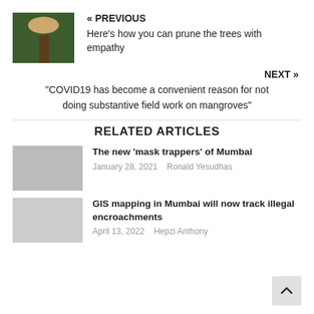« PREVIOUS
Here's how you can prune the trees with empathy
NEXT »
“COVID19 has become a convenient reason for not doing substantive field work on mangroves”
RELATED ARTICLES
The new ‘mask trappers’ of Mumbai
January 28, 2021   Ronald Yesudhas
GIS mapping in Mumbai will now track illegal encroachments
April 13, 2022   Hepzi Anthony